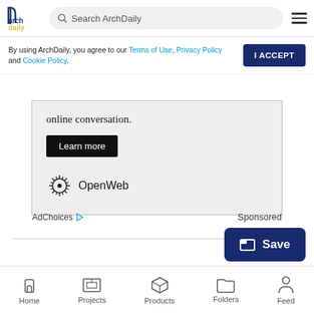[Figure (screenshot): ArchDaily website header with logo, search bar, and hamburger menu]
By using ArchDaily, you agree to our Terms of Use, Privacy Policy and Cookie Policy.
[Figure (screenshot): I ACCEPT button for cookie consent]
[Figure (screenshot): OpenWeb advertisement with 'online conversation.' text, Learn more button, and OpenWeb logo]
AdChoices  Sponsored
[Figure (screenshot): Save button with folder icon]
[Figure (screenshot): Bottom navigation bar with Home, Projects, Products, Folders, Feed icons]